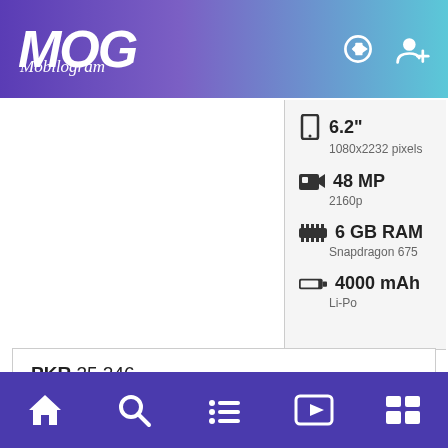[Figure (screenshot): Mobilogram app header with logo and icons]
6.2"
1080x2232 pixels
48 MP
2160p
6 GB RAM
Snapdragon 675
4000 mAh
Li-Po
PKR 35,246
INR 17,864.00
$ 255.20
€ 220.00